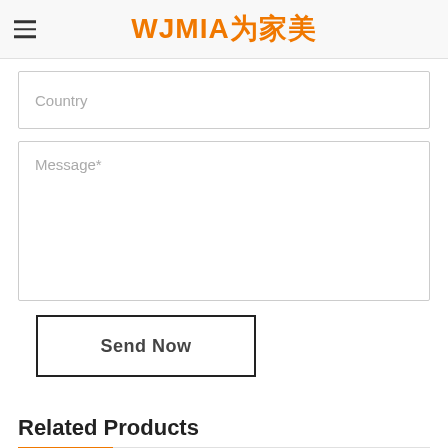WJMIA为家美
Country
Message*
Send Now
Related Products